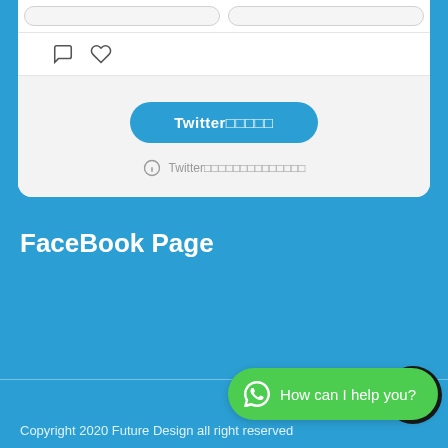[Figure (screenshot): White card UI element showing two input fields at top, comment and heart icons below, then a gray section with a Twitter button and Twitter info text with info icon]
FaceBook Page
[Figure (screenshot): Green WhatsApp-style chat button with WhatsApp icon and text 'How can I help you?' with a dark circular background element]
Copyright 2020 Future Design all right reserved